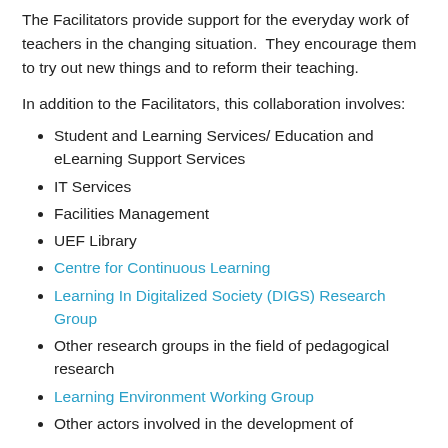The Facilitators provide support for the everyday work of teachers in the changing situation.  They encourage them to try out new things and to reform their teaching.
In addition to the Facilitators, this collaboration involves:
Student and Learning Services/ Education and eLearning Support Services
IT Services
Facilities Management
UEF Library
Centre for Continuous Learning
Learning In Digitalized Society (DIGS) Research Group
Other research groups in the field of pedagogical research
Learning Environment Working Group
Other actors involved in the development of